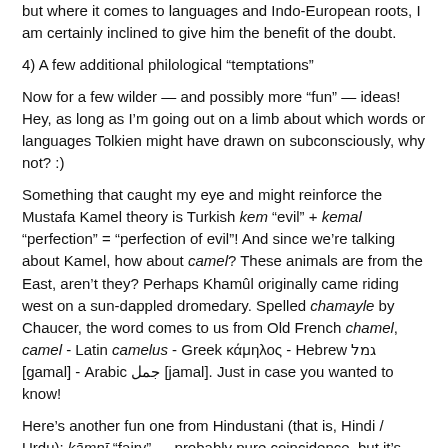but where it comes to languages and Indo-European roots, I am certainly inclined to give him the benefit of the doubt.
4) A few additional philological “temptations”
Now for a few wilder — and possibly more “fun” — ideas! Hey, as long as I’m going out on a limb about which words or languages Tolkien might have drawn on subconsciously, why not? :)
Something that caught my eye and might reinforce the Mustafa Kamel theory is Turkish kem “evil” + kemal “perfection” = “perfection of evil”! And since we’re talking about Kamel, how about camel? These animals are from the East, aren’t they? Perhaps Khamûl originally came riding west on a sun-dappled dromedary. Spelled chamayle by Chaucer, the word comes to us from Old French chamel, camel - Latin camelus - Greek κάμηλος - Hebrew גמל [gamal] - Arabic جمل [jamal]. Just in case you wanted to know!
Here’s another fun one from Hindustani (that is, Hindi / Urdu): kāmnī “fairy” — probably pure coincidence, but it’s